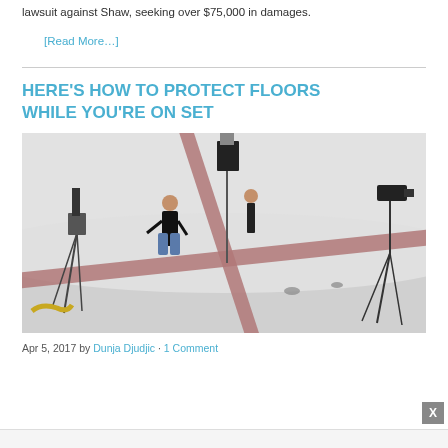lawsuit against Shaw, seeking over $75,000 in damages.
[Read More…]
HERE'S HOW TO PROTECT FLOORS WHILE YOU'RE ON SET
[Figure (photo): Photography studio interior showing two people setting up lighting equipment, with pink/mauve protective floor tape laid in an X pattern across the white studio floor. Camera on tripod visible on right, lighting stand on left.]
Apr 5, 2017 by Dunja Djudjic · 1 Comment